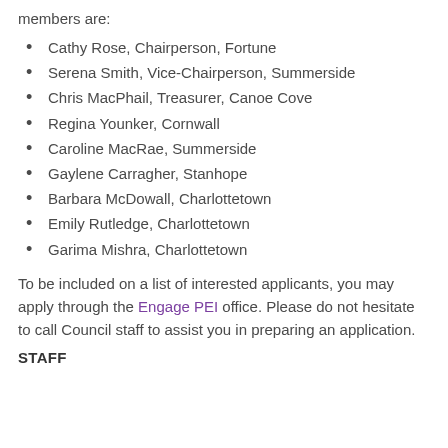members are:
Cathy Rose, Chairperson, Fortune
Serena Smith, Vice-Chairperson, Summerside
Chris MacPhail, Treasurer, Canoe Cove
Regina Younker, Cornwall
Caroline MacRae, Summerside
Gaylene Carragher, Stanhope
Barbara McDowall, Charlottetown
Emily Rutledge, Charlottetown
Garima Mishra, Charlottetown
To be included on a list of interested applicants, you may apply through the Engage PEI office. Please do not hesitate to call Council staff to assist you in preparing an application.
STAFF